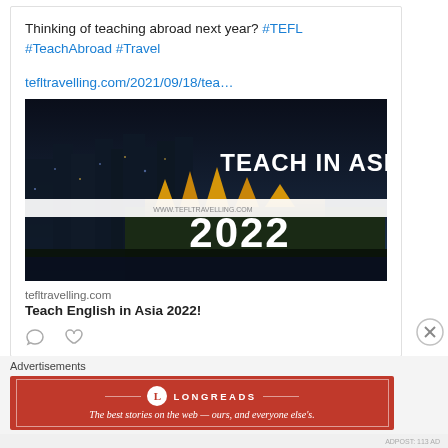Thinking of teaching abroad next year? #TEFL #TeachAbroad #Travel
tefltravelling.com/2021/09/18/tea…
[Figure (photo): Night cityscape of Bangkok/Asia with Grand Palace illuminated in gold, overlaid with white text reading 'TEACH IN ASIA' and '2022', with website URL www.tefltravelling.com]
tefltravelling.com
Teach English in Asia 2022!
Advertisements
[Figure (infographic): Longreads advertisement banner in red with white border. Logo shows circle L and LONGREADS text. Tagline: The best stories on the web — ours, and everyone else's.]
ADPOST: 113 AD